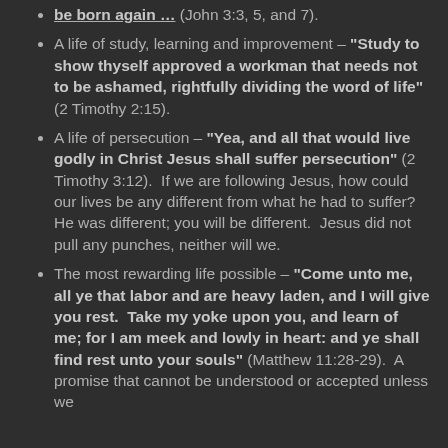be born again …" (John 3:3, 5, and 7).
A life of study, learning and improvement – "Study to show thyself approved a workman that needs not to be ashamed, rightfully dividing the word of life" (2 Timothy 2:15).
A life of persecution – "Yea, and all that would live godly in Christ Jesus shall suffer persecution" (2 Timothy 3:12).  If we are following Jesus, how could our lives be any different from what he had to suffer?  He was different; you will be different.  Jesus did not pull any punches, neither will we.
The most rewarding life possible – "Come unto me, all ye that labor and are heavy laden, and I will give you rest.  Take my yoke upon you, and learn of me; for I am meek and lowly in heart: and ye shall find rest unto your souls" (Matthew 11:28-29).  A promise that cannot be understood or accepted unless we